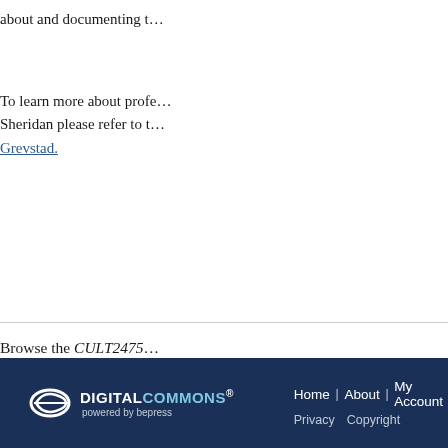about and documenting t...
To learn more about profe... Sheridan please refer to t... Grevstad.
Browse the CULT2475... Winter / Spring 2021-202...
Digital Commons powered by bepress | Home | About | My Account | Privacy | Copyright